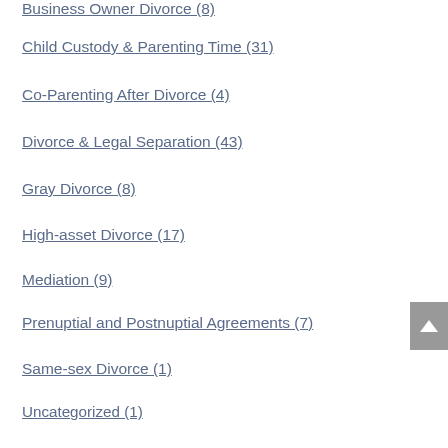Business Owner Divorce (8)
Child Custody & Parenting Time (31)
Co-Parenting After Divorce (4)
Divorce & Legal Separation (43)
Gray Divorce (8)
High-asset Divorce (17)
Mediation (9)
Prenuptial and Postnuptial Agreements (7)
Same-sex Divorce (1)
Uncategorized (1)
ARCHIVES
August 2022 (2)